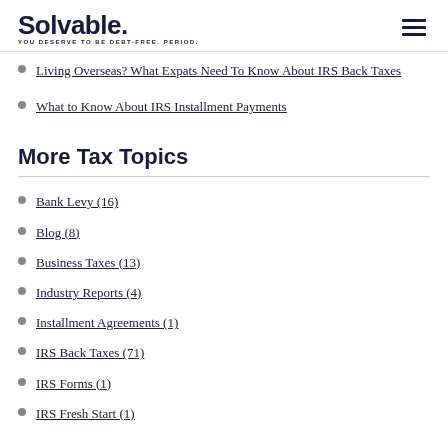Solvable. YOU DESERVE TO BE DEBT-FREE. PERIOD.
Living Overseas? What Expats Need To Know About IRS Back Taxes
What to Know About IRS Installment Payments
More Tax Topics
Bank Levy (16)
Blog (8)
Business Taxes (13)
Industry Reports (4)
Installment Agreements (1)
IRS Back Taxes (71)
IRS Forms (1)
IRS Fresh Start (1)